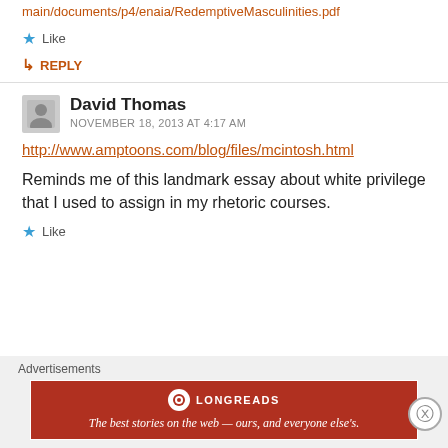main/documents/p4/enaia/RedemptiveMasculinities.pdf
★ Like
↳ REPLY
David Thomas
NOVEMBER 18, 2013 AT 4:17 AM
http://www.amptoons.com/blog/files/mcintosh.html
Reminds me of this landmark essay about white privilege that I used to assign in my rhetoric courses.
★ Like
Advertisements
[Figure (other): Longreads advertisement banner: red background with Longreads logo and tagline 'The best stories on the web — ours, and everyone else's.']